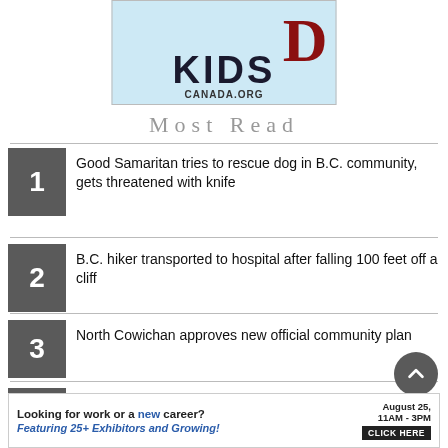[Figure (illustration): Advertisement banner showing 'KIDS CANADA.ORG' text with a large dark red letter D on light blue background]
Most Read
1 Good Samaritan tries to rescue dog in B.C. community, gets threatened with knife
2 B.C. hiker transported to hospital after falling 100 feet off a cliff
3 North Cowichan approves new official community plan
4 Letter: NDP may do better with ferries
[Figure (illustration): Advertisement: Looking for work or a new career? August 25, 11AM-3PM. Featuring 25+ Exhibitors and Growing! CLICK HERE]